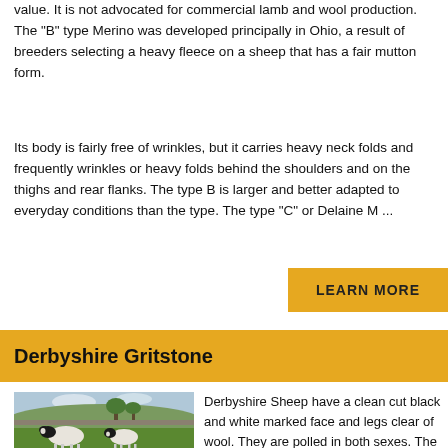value. It is not advocated for commercial lamb and wool production. The "B" type Merino was developed principally in Ohio, a result of breeders selecting a heavy fleece on a sheep that has a fair mutton form.
Its body is fairly free of wrinkles, but it carries heavy neck folds and frequently wrinkles or heavy folds behind the shoulders and on the thighs and rear flanks. The type B is larger and better adapted to everyday conditions than the type. The type "C" or Delaine M ...
LEARN MORE
Derbyshire Gritstone
[Figure (photo): Two Derbyshire Gritstone sheep with black and white marked faces standing on green grass with trees and hills in background]
Derbyshire Sheep have a clean cut black and white marked face and legs clear of wool. They are polled in both sexes. The Derbyshire Gritstone is a handsome sheep of aristocratic linea...